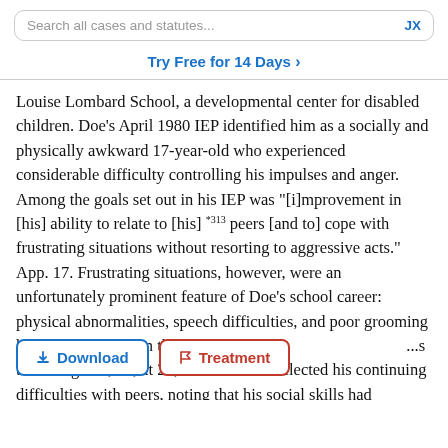Search all cases and statutes...   JX
Try Free for 14 Days >
Louise Lombard School, a developmental center for disabled children. Doe’s April 1980 IEP identified him as a socially and physically awkward 17-year-old who experienced considerable difficulty controlling his impulses and anger. Among the goals set out in his IEP was “[i]mprovement in [his] ability to relate to [his] *313 peers [and to] cope with frustrating situations without resorting to aggressive acts.” App. 17. Frustrating situations, however, were an unfortunately prominent feature of Doe’s school career: physical abnormalities, speech difficulties, and poor grooming habits had made him the ta... d ...s the first grade, id., at 23, his 1980 IEP reflected his continuing difficulties with peers, noting that his social skills had
[Figure (screenshot): Download and Treatment buttons overlaid on text]